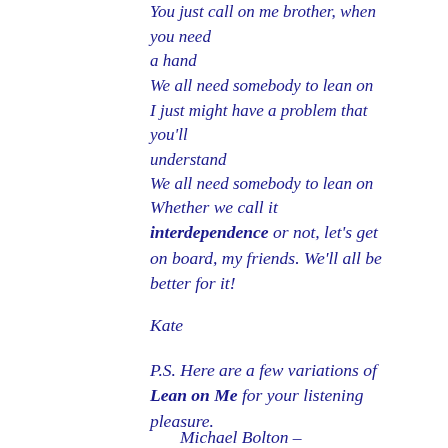You just call on me brother, when you need a hand
We all need somebody to lean on
I just might have a problem that you'll understand
We all need somebody to lean on
Whether we call it interdependence or not, let's get on board, my friends. We'll all be better for it!
Kate
P.S. Here are a few variations of Lean on Me for your listening pleasure.
Michael Bolton –